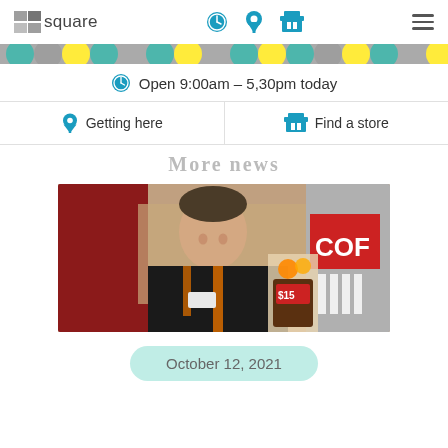cssquare
Open 9:00am - 5:30pm today
Getting here
Find a store
More news
[Figure (photo): A smiling man in a black shirt and orange apron standing in a food court or market setting. Signs visible including one reading 'COF' and a price tag showing '$15'.]
October 12, 2021